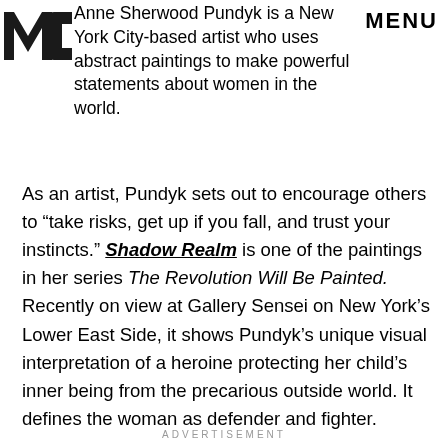MIC (logo)
Anne Sherwood Pundyk is a New York City-based artist who uses abstract paintings to make powerful statements about women in the world.
As an artist, Pundyk sets out to encourage others to “take risks, get up if you fall, and trust your instincts.” Shadow Realm is one of the paintings in her series The Revolution Will Be Painted. Recently on view at Gallery Sensei on New York’s Lower East Side, it shows Pundyk’s unique visual interpretation of a heroine protecting her child’s inner being from the precarious outside world. It defines the woman as defender and fighter.
ADVERTISEMENT